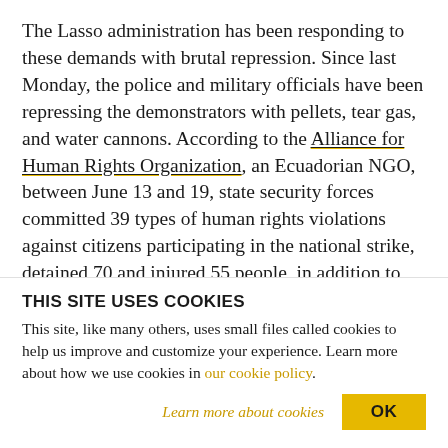The Lasso administration has been responding to these demands with brutal repression. Since last Monday, the police and military officials have been repressing the demonstrators with pellets, tear gas, and water cannons. According to the Alliance for Human Rights Organization, an Ecuadorian NGO, between June 13 and 19, state security forces committed 39 types of human rights violations against citizens participating in the national strike, detained 70 and injured 55 people, in addition to
THIS SITE USES COOKIES
This site, like many others, uses small files called cookies to help us improve and customize your experience. Learn more about how we use cookies in our cookie policy.
Learn more about cookies
OK